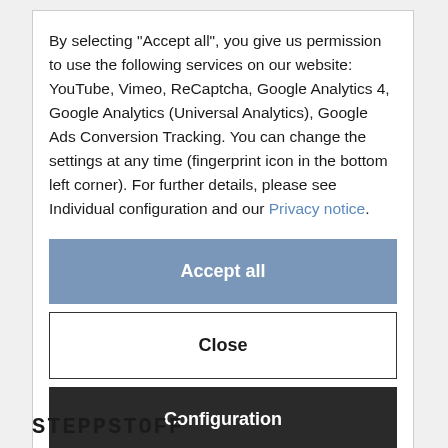By selecting "Accept all", you give us permission to use the following services on our website: YouTube, Vimeo, ReCaptcha, Google Analytics 4, Google Analytics (Universal Analytics), Google Ads Conversion Tracking. You can change the settings at any time (fingerprint icon in the bottom left corner). For further details, please see Individual configuration and our Privacy notice.
Accept all
Close
Configuration
STEPPSTOFF